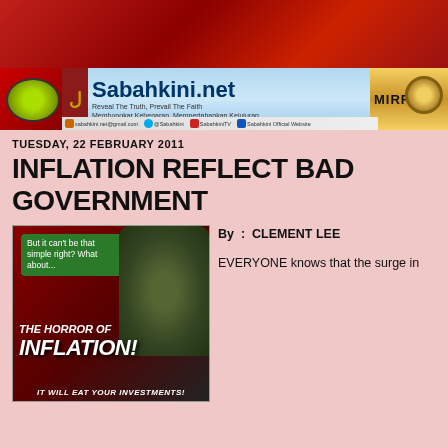[Figure (illustration): Sabahkini.net website header banner with logo, eye graphic, Mirror badge, and social media links bar]
TUESDAY, 22 FEBRUARY 2011
INFLATION REFLECT BAD GOVERNMENT
[Figure (illustration): Horror of Inflation illustration showing a monster/Godzilla figure with speech bubble 'But it can't be that simple right? What about...' and text 'THE HORROR OF INFLATION! IT WILL EAT YOUR INVESTMENTS!']
By : CLEMENT LEE
EVERYONE knows that the surge in